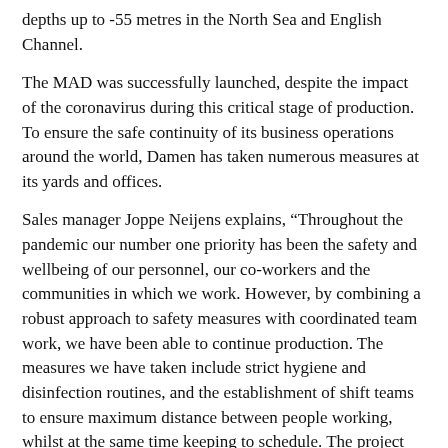depths up to -55 metres in the North Sea and English Channel.
The MAD was successfully launched, despite the impact of the coronavirus during this critical stage of production. To ensure the safe continuity of its business operations around the world, Damen has taken numerous measures at its yards and offices.
Sales manager Joppe Neijens explains, “Throughout the pandemic our number one priority has been the safety and wellbeing of our personnel, our co-workers and the communities in which we work. However, by combining a robust approach to safety measures with coordinated team work, we have been able to continue production. The measures we have taken include strict hygiene and disinfection routines, and the establishment of shift teams to ensure maximum distance between people working, whilst at the same time keeping to schedule. The project team and yard have done a great job. Together they have taken the necessary measures to keep on track with minimal loss of time. In this way, we are able to maintain our support to our clients.”
Damen’s MAD range applies innovative maritime engineering to ensure safe, comfortable operations even in adverse conditions. Safety is further enhanced by the positioning of all dredge pipes